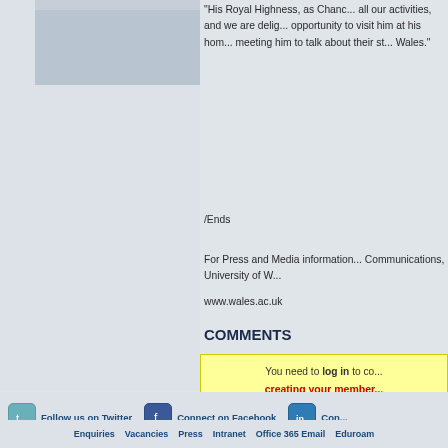[Figure (photo): Photo/image placeholder in left panel area]
"His Royal Highness, as Chancellor, supports all our activities, and we are delighted at the opportunity to visit him at his home, students meeting him to talk about their studies in Wales."
/Ends
For Press and Media information contact Communications, University of W...
www.wales.ac.uk
COMMENTS
You need to log in to co... creating your member...
Follow us on Twitter   Connect on Facebook   Con...   Enquiries   Vacancies   Press   Intranet   Office 365 Email   Eduroam